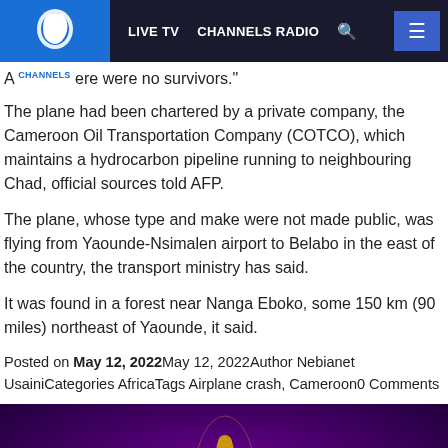LIVE TV  CHANNELS RADIO  [search]  [menu]
A CHANNELS ere were no survivors."
The plane had been chartered by a private company, the Cameroon Oil Transportation Company (COTCO), which maintains a hydrocarbon pipeline running to neighbouring Chad, official sources told AFP.
The plane, whose type and make were not made public, was flying from Yaounde-Nsimalen airport to Belabo in the east of the country, the transport ministry has said.
It was found in a forest near Nanga Eboko, some 150 km (90 miles) northeast of Yaounde, it said.
Posted on May 12, 2022May 12, 2022Author Nebianet UsainiCategories AfricaTags Airplane crash, Cameroon0 Comments
[Figure (photo): FIFA World Cup trophy in foreground against purple background, with a soccer ball visible to the left]